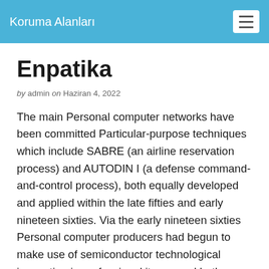Koruma Alanları
Enpatika
by admin on Haziran 4, 2022
The main Personal computer networks have been committed Particular-purpose techniques which include SABRE (an airline reservation process) and AUTODIN I (a defense command-and-control process), both equally developed and applied within the late fifties and early nineteen sixties. Via the early nineteen sixties Personal computer producers had begun to make use of semiconductor technological innovation in professional items, and both equally regular batch-processing and